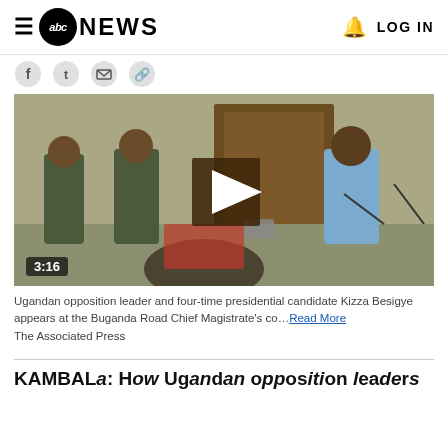ABC NEWS — LOG IN
[Figure (screenshot): ABC News navigation bar with hamburger menu, ABC News logo, bell icon, and LOG IN button]
[Figure (photo): Video thumbnail showing Ugandan opposition leader Kizza Besigye appearing at the Buganda Road Chief Magistrate's court, with a play button overlay and duration 3:16]
Ugandan opposition leader and four-time presidential candidate Kizza Besigye appears at the Buganda Road Chief Magistrate's co... Read More
The Associated Press